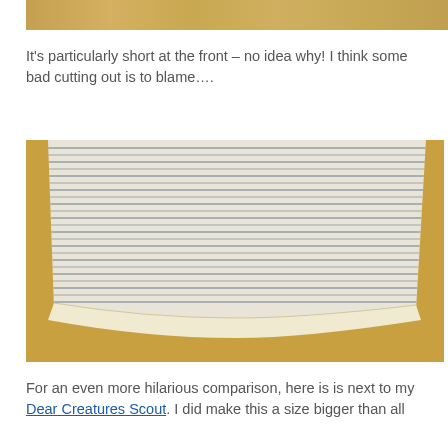[Figure (photo): Partial view of a wooden floor, bottom edge of a photo cropped at top of page]
It's particularly short at the front – no idea why! I think some bad cutting out is to blame....
[Figure (photo): A blue and white striped fabric skirt laid flat on a wooden floor, showing the hem and lining]
For an even more hilarious comparison, here is is next to my Dear Creatures Scout. I did make this a size bigger than all